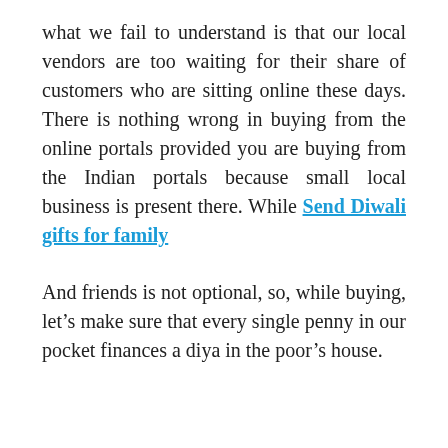what we fail to understand is that our local vendors are too waiting for their share of customers who are sitting online these days. There is nothing wrong in buying from the online portals provided you are buying from the Indian portals because small local business is present there. While Send Diwali gifts for family
And friends is not optional, so, while buying, let’s make sure that every single penny in our pocket finances a diya in the poor’s house.